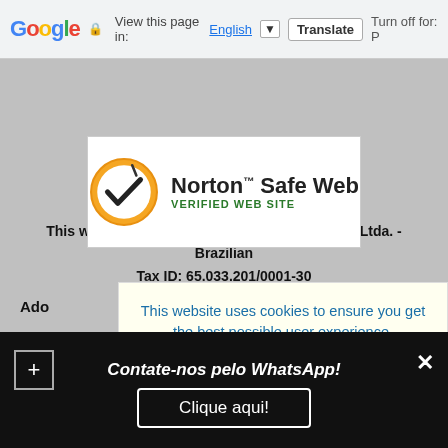Google  View this page in: English  Translate  Turn off for: P
[Figure (logo): Norton Safe Web - Verified Web Site badge with checkmark logo inside orange circle]
This website © 1997-2022 MBI Informática EPP Ltda. - Brazilian
Tax ID: 65.033.201/0001-30
Ado
Cus
See
This website uses cookies to ensure you get the best possible user experience.
More details, please!
Contate-nos pelo WhatsApp!
Clique aqui!